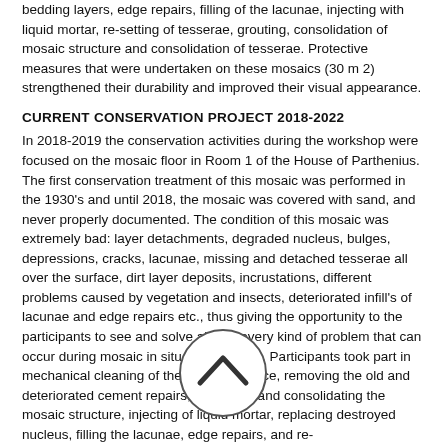bedding layers, edge repairs, filling of the lacunae, injecting with liquid mortar, re-setting of tesserae, grouting, consolidation of mosaic structure and consolidation of tesserae. Protective measures that were undertaken on these mosaics (30 m 2) strengthened their durability and improved their visual appearance.
CURRENT CONSERVATION PROJECT 2018-2022
In 2018-2019 the conservation activities during the workshop were focused on the mosaic floor in Room 1 of the House of Parthenius. The first conservation treatment of this mosaic was performed in the 1930's and until 2018, the mosaic was covered with sand, and never properly documented. The condition of this mosaic was extremely bad: layer detachments, degraded nucleus, bulges, depressions, cracks, lacunae, missing and detached tesserae all over the surface, dirt layer deposits, incrustations, different problems caused by vegetation and insects, deteriorated infill's of lacunae and edge repairs etc., thus giving the opportunity to the participants to see and solve almost every kind of problem that can occur during mosaic in situ conservation. Participants took part in mechanical cleaning of the mosaic surface, removing the old and deteriorated cement repairs, stabilizing and consolidating the mosaic structure, injecting of liquid mortar, replacing destroyed nucleus, filling the lacunae, edge repairs, and re-setting tesserae. All the processes were followed up with new drawings and photo documentation using the advanced technique of photogrammetry.
After two seasons of in situ conservation of this mosaic, together